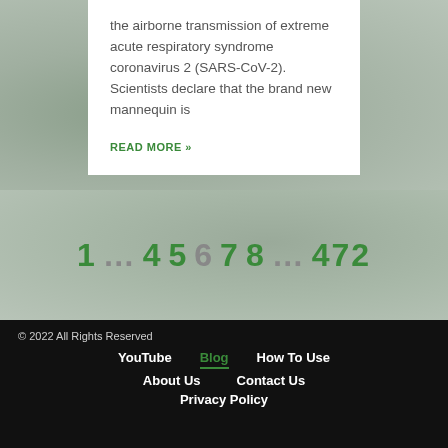the airborne transmission of extreme acute respiratory syndrome coronavirus 2 (SARS-CoV-2). Scientists declare that the brand new mannequin is
READ MORE »
1 … 4 5 6 7 8 … 472
© 2022 All Rights Reserved
YouTube  Blog  How To Use  About Us  Contact Us  Privacy Policy